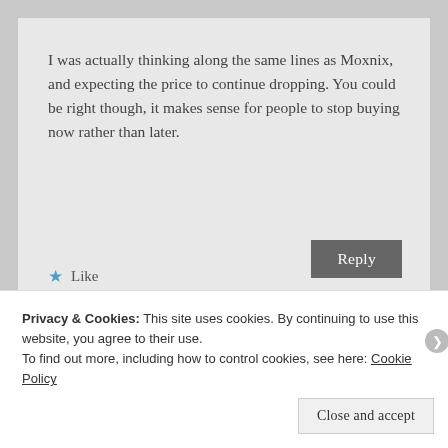I was actually thinking along the same lines as Moxnix, and expecting the price to continue dropping. You could be right though, it makes sense for people to stop buying now rather than later.
★ Like
Reply
Privacy & Cookies: This site uses cookies. By continuing to use this website, you agree to their use.
To find out more, including how to control cookies, see here: Cookie Policy
Close and accept